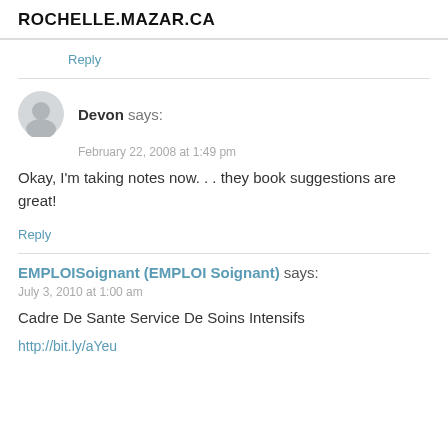ROCHELLE.MAZAR.CA
Reply
Devon says:
February 22, 2008 at 1:49 pm
Okay, I'm taking notes now. . . they book suggestions are great!
Reply
EMPLOISoignant (EMPLOI Soignant) says:
July 3, 2010 at 1:00 am
Cadre De Sante Service De Soins Intensifs
http://bit.ly/aYeu